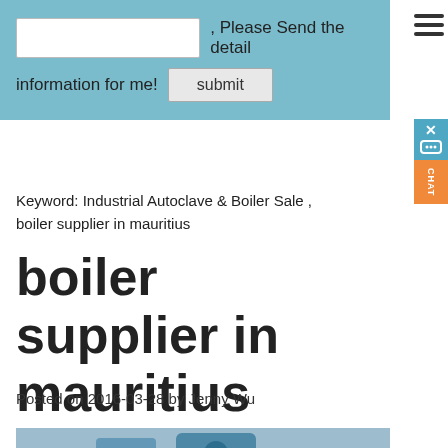[Figure (screenshot): Search/contact form with text input, 'Please Send the detail information for me!' label, and submit button on a blue background, with hamburger menu icon in top right]
Keyword: Industrial Autoclave & Boiler Sale , boiler supplier in mauritius
boiler supplier in mauritius
Posted on 2016-03-28 by Jenny Wu
[Figure (photo): Industrial boiler equipment in a factory/warehouse setting, blue machinery visible]